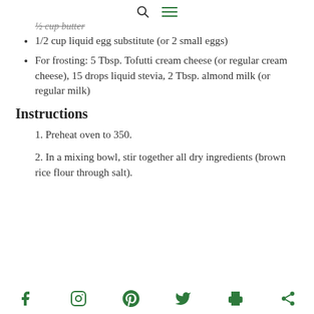[search icon] [menu icon]
½ cup butter (strikethrough partial)
1/2 cup liquid egg substitute (or 2 small eggs)
For frosting: 5 Tbsp. Tofutti cream cheese (or regular cream cheese), 15 drops liquid stevia, 2 Tbsp. almond milk (or regular milk)
Instructions
1. Preheat oven to 350.
2. In a mixing bowl, stir together all dry ingredients (brown rice flour through salt).
Facebook, Instagram, Pinterest, Twitter, Print, Share icons